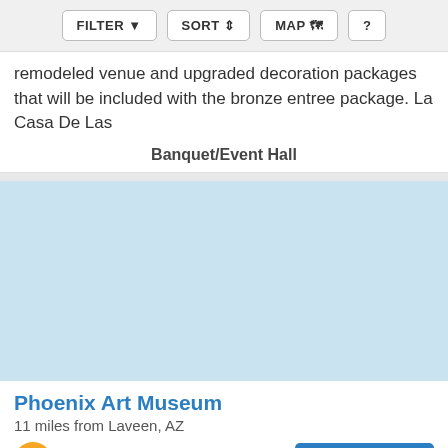FILTER | SORT | MAP | ?
remodeled venue and upgraded decoration packages that will be included with the bronze entree package. La Casa De Las
Banquet/Event Hall
[Figure (photo): Light blue placeholder image for venue listing]
Phoenix Art Museum
11 miles from Laveen, AZ
Capacity: 1500
Request Pricing